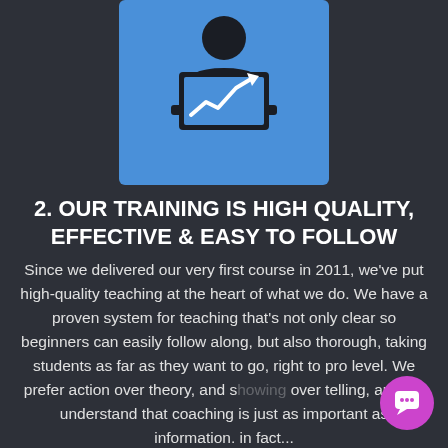[Figure (illustration): Blue square icon showing a silhouette of a person sitting at a laptop computer with an upward trending chart arrow on the screen]
2. OUR TRAINING IS HIGH QUALITY, EFFECTIVE & EASY TO FOLLOW
Since we delivered our very first course in 2011, we've put high-quality teaching at the heart of what we do. We have a proven system for teaching that's not only clear so beginners can easily follow along, but also thorough, taking students as far as they want to go, right to pro level. We prefer action over theory, and showing over telling, and we understand that coaching is just as important as information. In fact...